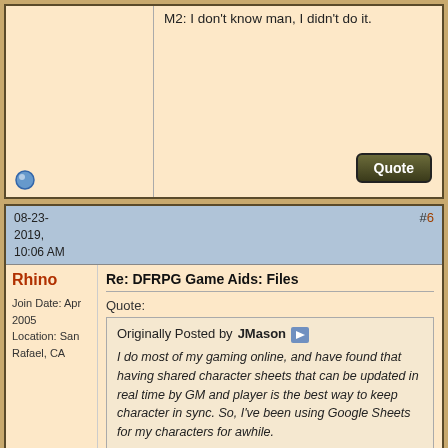M2: I don't know man, I didn't do it.
08-23-2019, 10:06 AM
#6
Rhino
Join Date: Apr 2005 Location: San Rafael, CA
Re: DFRPG Game Aids: Files
Quote:
Originally Posted by JMason
I do most of my gaming online, and have found that having shared character sheets that can be updated in real time by GM and player is the best way to keep character in sync. So, I've been using Google Sheets for my characters for awhile.

I've finally created my version of the DFRPG Character Sheet. Here it is for anyone that is interested. I've "tested" it with one of the sample characters, and the math turned out right.

Note that if a character as Striking ST or Lifting ST, then this needs to be added to the hidden columns on sheet 1 to